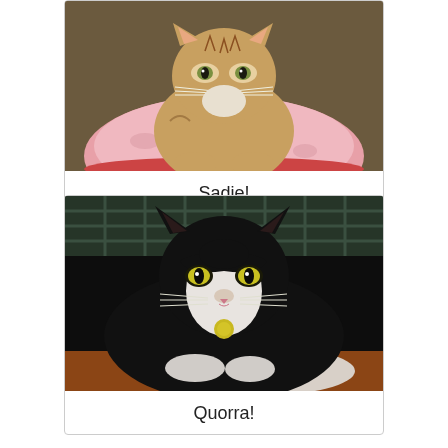[Figure (photo): Close-up photo of a tabby cat named Sadie lying on a pink cushion/bed, looking directly at the camera]
Sadie!
[Figure (photo): Close-up photo of a black and white tuxedo cat named Quorra lying down, wearing a yellow tag on collar, looking at camera against dark background]
Quorra!